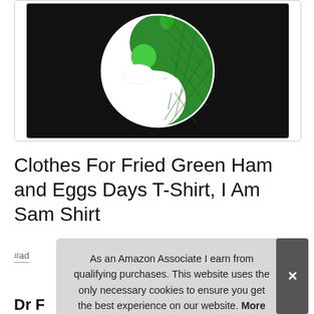[Figure (photo): Product image of a t-shirt with a yin-yang design featuring green eggs and ham (fried egg and steak) on a black shirt background, displayed in a white rounded box.]
Clothes For Fried Green Ham and Eggs Days T-Shirt, I Am Sam Shirt
#ad
As an Amazon Associate I earn from qualifying purchases. This website uses the only necessary cookies to ensure you get the best experience on our website. More information
Dr F